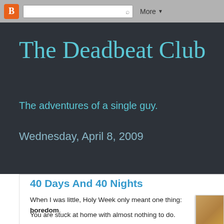Blogger navbar with search and More button
The Deadbeat Club
The adventures of a single guy.
Wednesday, April 8, 2009
40 Days And 40 Nights
When I was little, Holy Week only meant one thing: boredom.
You are stuck at home with almost nothing to do.
Nothing good is on TV, unless you consider a marathon of 7th Heaven and religious movies starring Matt Ranillo III as pure bliss.
Raft3r's family is Catholic. The rest of the clan is Iglesia ni Cristo (Church of Christ).